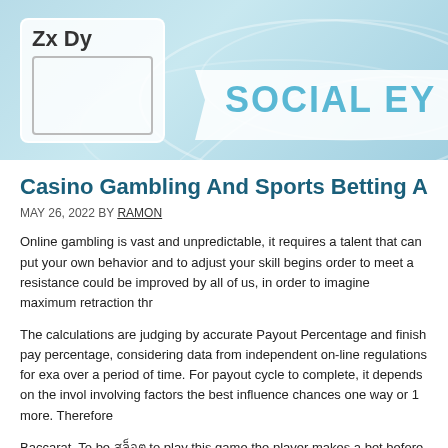[Figure (illustration): Website header banner with light blue gradient background and decorative swirl patterns. Contains a white rounded logo box on the left with 'Zx Dy' text, and a white ribbon banner on the right with 'SOCIAL EY' (truncated) text in large teal bold letters.]
Casino Gambling And Sports Betting Aren't The
MAY 26, 2022 BY RAMON
Online gambling is vast and unpredictable, it requires a talent that can put your own behavior and to adjust your skill begins order to meet a resistance could be improved by all of us, in order to imagine maximum retraction thr
The calculations are judging by accurate Payout Percentage and finish pay percentage, considering data from independent on-line regulations for exa over a period of time. For payout cycle to complete, it depends on the invol involving factors the best influence chances one way or 1 more. Therefore
Baccarat. To be สล็อต to play this game the player makes a bet before any c And then the cards are dealt and the game continues until there is often a w